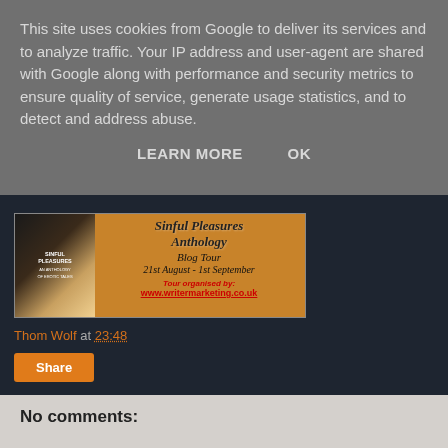This site uses cookies from Google to deliver its services and to analyze traffic. Your IP address and user-agent are shared with Google along with performance and security metrics to ensure quality of service, generate usage statistics, and to detect and address abuse.
LEARN MORE   OK
[Figure (illustration): Sinful Pleasures Anthology Blog Tour banner image. Shows a book cover on the left and orange textured background with text: 'Sinful Pleasures Anthology Blog Tour 21st August - 1st September. Tour organised by: www.writermarketing.co.uk']
Thom Wolf at 23:48
Share
No comments: